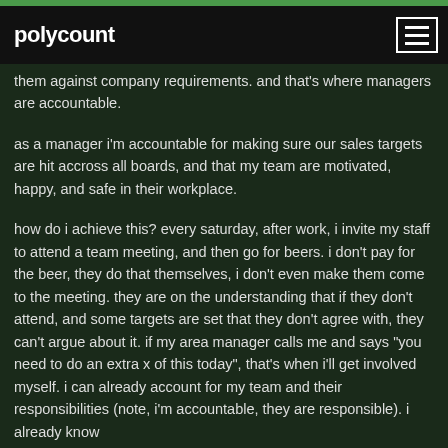polycount
them against company requirements. and that's where managers are accountable.
as a manager i'm accountable for making sure our sales targets are hit accross all boards, and that my team are motivated, happy, and safe in their workplace.
how do i achieve this? every saturday, after work, i invite my staff to attend a team meeting, and then go for beers. i don't pay for the beer, they do that themselves, i don't even make them come to the meeting. they are on the understanding that if they don't attend, and some targets are set that they don't agree with, they can't argue about it. if my area manager calls me and says "you need to do an extra x of this today", that's when i'll get involved myself. i can already account for my team and their responsibilities (note, i'm accountable, they are responsible). i already know